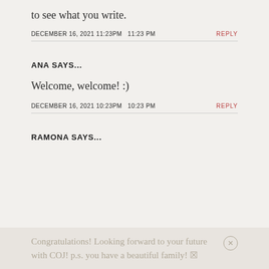to see what you write.
DECEMBER 16, 2021 11:23PM 11:23 PM
REPLY
ANA SAYS...
Welcome, welcome! :)
DECEMBER 16, 2021 10:23PM 10:23 PM
REPLY
RAMONA SAYS...
Congratulations! Looking forward to your future with COJ! p.s. you have a beautiful family! 🔲